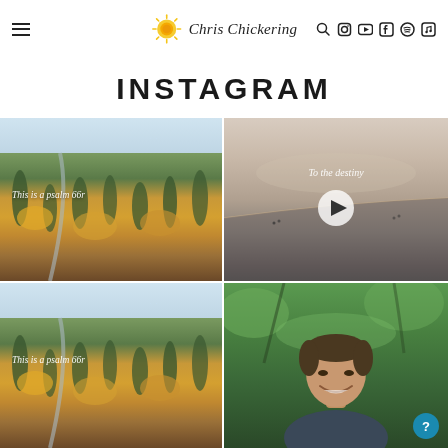Chris Chickering — website navigation header with logo, hamburger menu, and social icons (search, Instagram, YouTube, Facebook, Spotify, music)
INSTAGRAM
[Figure (photo): Aerial view of autumn forest with golden/orange treetops, text overlay reading 'This is a psalm 66r']
[Figure (photo): Aerial beach/coastline video thumbnail with pastel sunset tones, play button overlay, text overlay reading 'To the destiny']
[Figure (photo): Aerial view of autumn forest (same as top-left), partial view cropped at bottom]
[Figure (photo): Portrait of a man smiling among green trees/forest background]